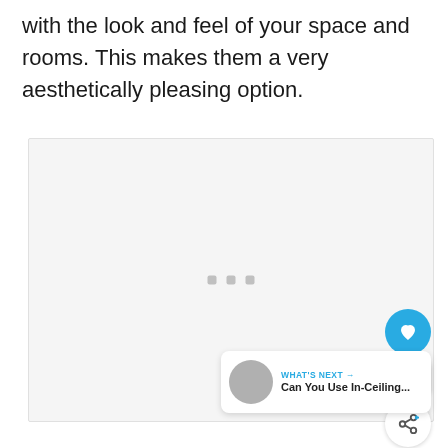with the look and feel of your space and rooms. This makes them a very aesthetically pleasing option.
[Figure (other): Large image placeholder area with loading indicator (three small grey squares) in the center, overlaid with a floating heart/like button (cyan circle with heart icon), a count of 6, a share button, and a 'What's Next' widget showing a thumbnail and text 'Can You Use In-Ceiling...']